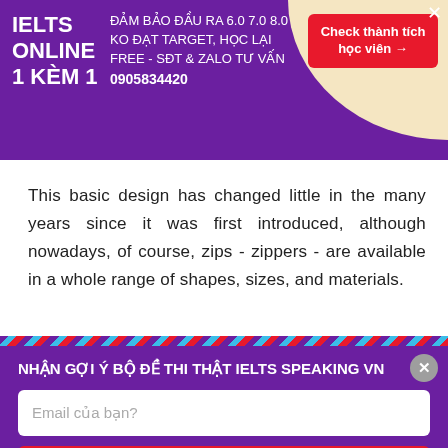[Figure (infographic): Purple advertisement banner for IELTS Online 1-1 course with beige decorative circle, red CTA button 'Check thành tích học viên', and course details. Phone: 0905834420.]
This basic design has changed little in the many years since it was first introduced, although nowadays, of course, zips - zippers - are available in a whole range of shapes, sizes, and materials.
[Figure (infographic): Purple popup banner: 'NHẬN GỢI Ý BỘ ĐỀ THI THẬT IELTS SPEAKING VN' with email input field and red submit button 'Gửi liền cho mình!']